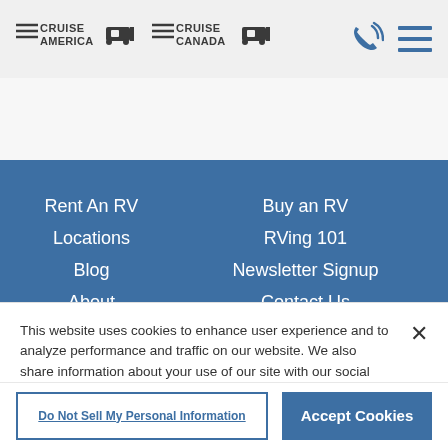Cruise America | Cruise Canada navigation header with phone and menu icons
Rent An RV
Locations
Blog
About
Help
Buy an RV
RVing 101
Newsletter Signup
Contact Us
Do Not Sell My Personal
This website uses cookies to enhance user experience and to analyze performance and traffic on our website. We also share information about your use of our site with our social media, advertising and analytics partners.
Do Not Sell My Personal Information
Accept Cookies